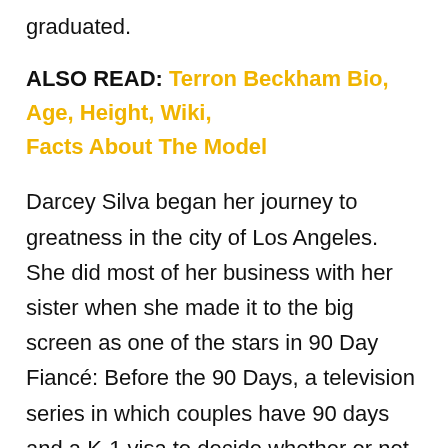graduated.
ALSO READ: Terron Beckham Bio, Age, Height, Wiki, Facts About The Model
Darcey Silva began her journey to greatness in the city of Los Angeles. She did most of her business with her sister when she made it to the big screen as one of the stars in 90 Day Fiancé: Before the 90 Days, a television series in which couples have 90 days and a K-1 visa to decide whether or not to settle down as man and wife. The series is designed in such a way that the visa of the foreign partner in the series expires after ninety days and couples are asked to leave America unless